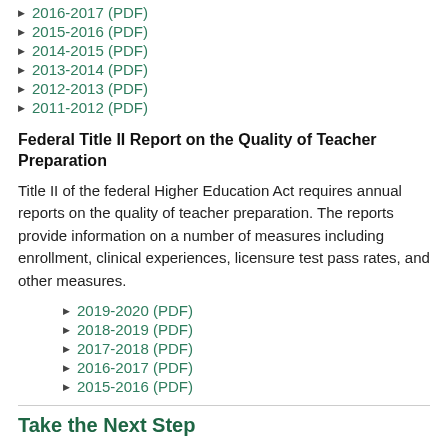2016-2017 (PDF)
2015-2016 (PDF)
2014-2015 (PDF)
2013-2014 (PDF)
2012-2013 (PDF)
2011-2012 (PDF)
Federal Title II Report on the Quality of Teacher Preparation
Title II of the federal Higher Education Act requires annual reports on the quality of teacher preparation. The reports provide information on a number of measures including enrollment, clinical experiences, licensure test pass rates, and other measures.
2019-2020 (PDF)
2018-2019 (PDF)
2017-2018 (PDF)
2016-2017 (PDF)
2015-2016 (PDF)
Take the Next Step